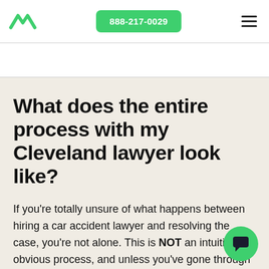888-217-0029
What does the entire process with my Cleveland lawyer look like?
If you're totally unsure of what happens between hiring a car accident lawyer and resolving the case, you're not alone. This is NOT an intuitive or obvious process, and unless you've gone through it before (which you probably haven't) you're going to have